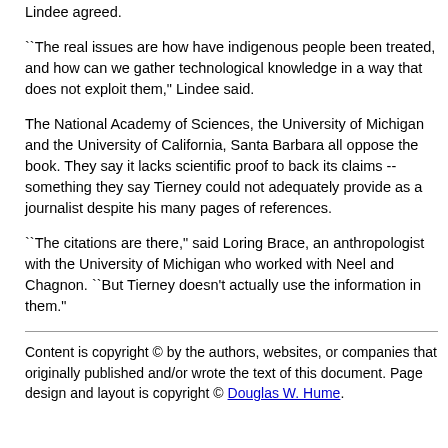Lindee agreed.
``The real issues are how have indigenous people been treated, and how can we gather technological knowledge in a way that does not exploit them," Lindee said.
The National Academy of Sciences, the University of Michigan and the University of California, Santa Barbara all oppose the book. They say it lacks scientific proof to back its claims -- something they say Tierney could not adequately provide as a journalist despite his many pages of references.
``The citations are there," said Loring Brace, an anthropologist with the University of Michigan who worked with Neel and Chagnon. ``But Tierney doesn't actually use the information in them."
Content is copyright © by the authors, websites, or companies that originally published and/or wrote the text of this document. Page design and layout is copyright © Douglas W. Hume.